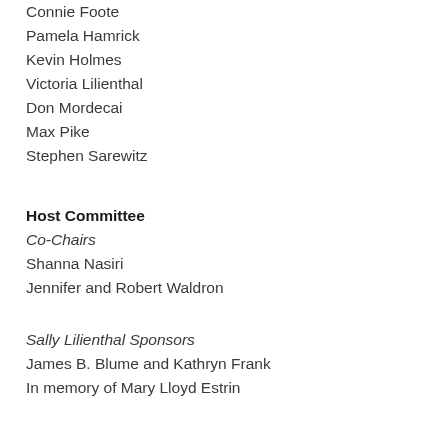Connie Foote
Pamela Hamrick
Kevin Holmes
Victoria Lilienthal
Don Mordecai
Max Pike
Stephen Sarewitz
Host Committee
Co-Chairs
Shanna Nasiri
Jennifer and Robert Waldron
Sally Lilienthal Sponsors
James B. Blume and Kathryn Frank
In memory of Mary Lloyd Estrin